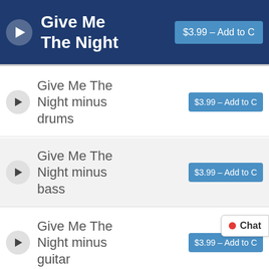[Figure (screenshot): Music track listing UI with dark blue header showing 'Give Me The Night' track and play button, followed by three track rows for 'Give Me The Night minus drums', 'Give Me The Night minus bass', 'Give Me The Night minus guitar', each with a play button and $3.99 Add to Cart button, and a partial fourth row at the bottom. A chat button is visible in the lower right.]
Give Me The Night
$3.99 – Add to C
Give Me The Night minus drums
$3.99 – Add to C
Give Me The Night minus bass
$3.99 – Add to C
Give Me The Night minus guitar
$3.99 – Add to C
Give Me The
$3.99 – Add to C
Chat